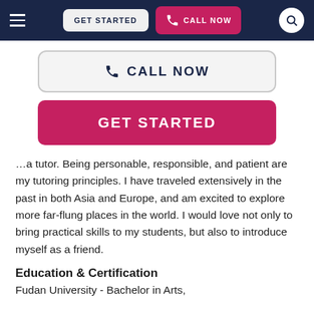GET STARTED | CALL NOW
[Figure (screenshot): Large Call Now button with phone icon, light gray background with dark border]
[Figure (screenshot): Large Get Started button, bright pink/crimson background with white text]
…a tutor. Being personable, responsible, and patient are my tutoring principles. I have traveled extensively in the past in both Asia and Europe, and am excited to explore more far-flung places in the world. I would love not only to bring practical skills to my students, but also to introduce myself as a friend.
Education & Certification
Fudan University - Bachelor in Arts,